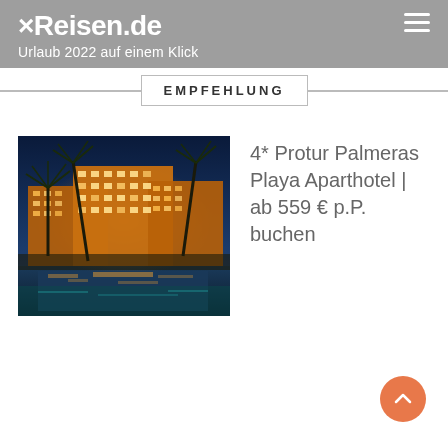×Reisen.de
Urlaub 2022 auf einem Klick
EMPFEHLUNG
[Figure (photo): Night photo of a large illuminated hotel resort with palm trees and a pool reflecting the lights]
4* Protur Palmeras Playa Aparthotel | ab 559 € p.P. buchen